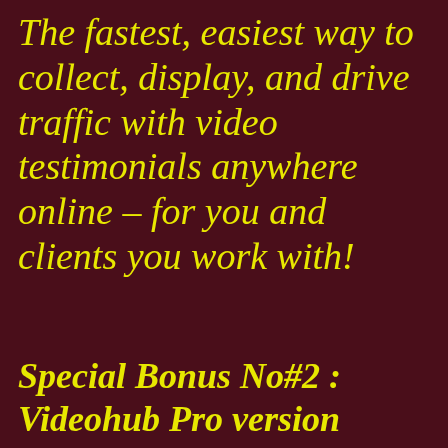The fastest, easiest way to collect, display, and drive traffic with video testimonials anywhere online – for you and clients you work with!
Special Bonus No#2 : Videohub Pro version